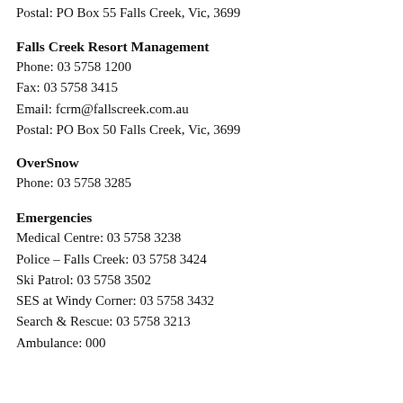Postal: PO Box 55 Falls Creek, Vic, 3699
Falls Creek Resort Management
Phone: 03 5758 1200
Fax: 03 5758 3415
Email: fcrm@fallscreek.com.au
Postal: PO Box 50 Falls Creek, Vic, 3699
OverSnow
Phone: 03 5758 3285
Emergencies
Medical Centre: 03 5758 3238
Police – Falls Creek: 03 5758 3424
Ski Patrol: 03 5758 3502
SES at Windy Corner: 03 5758 3432
Search & Rescue: 03 5758 3213
Ambulance: 000